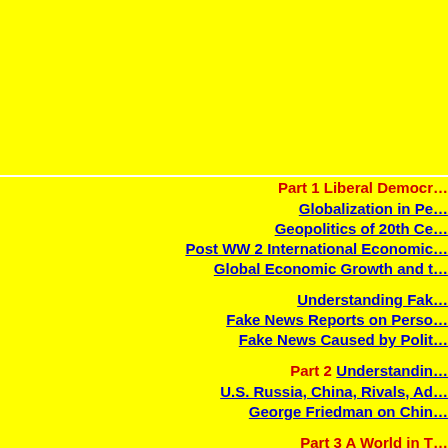[Figure (other): Large yellow rectangle occupying the top portion of the page]
Part 1 Liberal Democracy... Globalization in Pe... Geopolitics of 20th Ce... Post WW 2 International Economic... Global Economic Growth and t... Understanding Fak... Fake News Reports on Perso... Fake News Caused by Polit... Part 2 Understandin... U.S. Russia, China, Rivals, Ad... George Friedman on Chin... Part 3 A World in T... America as a Superpowe... US Liberal Foreign Policy Ha...